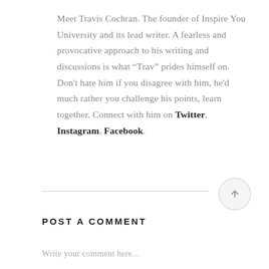Meet Travis Cochran. The founder of Inspire You University and its lead writer. A fearless and provocative approach to his writing and discussions is what “Trav” prides himself on. Don't hate him if you disagree with him, he'd much rather you challenge his points, learn together. Connect with him on Twitter, Instagram, Facebook.
POST A COMMENT
Write your comment here...